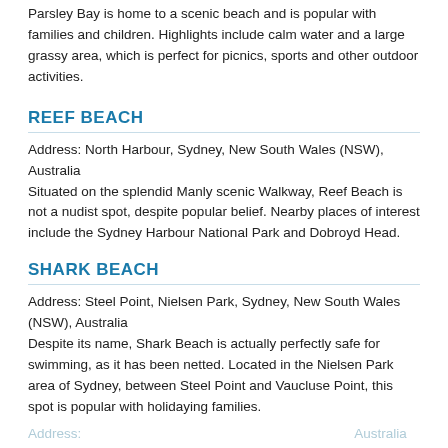Parsley Bay is home to a scenic beach and is popular with families and children. Highlights include calm water and a large grassy area, which is perfect for picnics, sports and other outdoor activities.
REEF BEACH
Address: North Harbour, Sydney, New South Wales (NSW), Australia
Situated on the splendid Manly scenic Walkway, Reef Beach is not a nudist spot, despite popular belief. Nearby places of interest include the Sydney Harbour National Park and Dobroyd Head.
SHARK BEACH
Address: Steel Point, Nielsen Park, Sydney, New South Wales (NSW), Australia
Despite its name, Shark Beach is actually perfectly safe for swimming, as it has been netted. Located in the Nielsen Park area of Sydney, between Steel Point and Vaucluse Point, this spot is popular with holidaying families.
(faded/watermarked text)
SOUTH STEYNE BEACH
(faded/watermarked text)